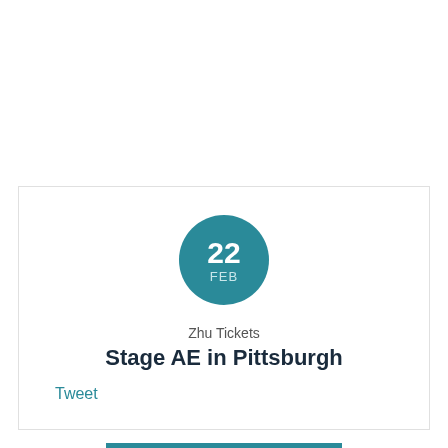[Figure (infographic): Teal circular date badge showing '22' in large white bold text and 'FEB' in smaller light text below, on a white card with border]
Zhu Tickets
Stage AE in Pittsburgh
Tweet
GET TICKETS